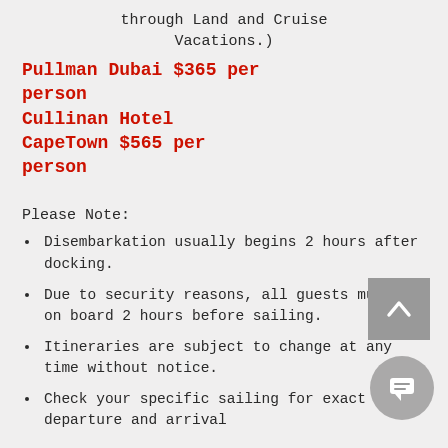through Land and Cruise Vacations.)
Pullman Dubai $365 per person
Cullinan Hotel CapeTown $565 per person
Please Note:
Disembarkation usually begins 2 hours after docking.
Due to security reasons, all guests must be on board 2 hours before sailing.
Itineraries are subject to change at any time without notice.
Check your specific sailing for exact departure and arrival